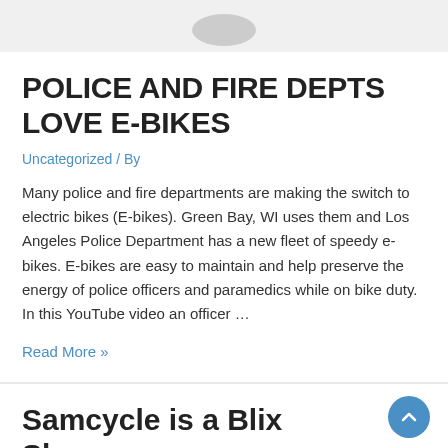POLICE AND FIRE DEPTS LOVE E-BIKES
Uncategorized / By
Many police and fire departments are making the switch to electric bikes (E-bikes). Green Bay, WI uses them and Los Angeles Police Department has a new fleet of speedy e-bikes. E-bikes are easy to maintain and help preserve the energy of police officers and paramedics while on bike duty.  In this YouTube video an officer …
Read More »
Samcycle is a Blix Showroom